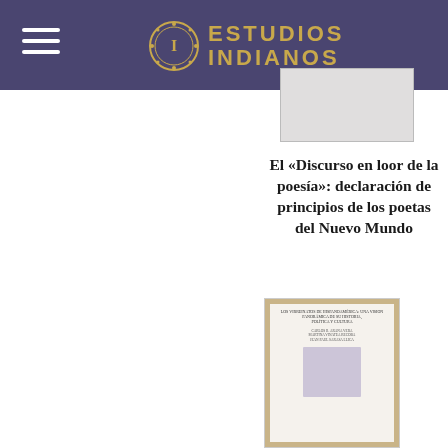Estudios Indianos
[Figure (screenshot): Partial view of a book cover thumbnail at the top right, grey/white rectangle]
El «Discurso en loor de la poesía»: declaración de principios de los poetas del Nuevo Mundo
Martina Vinatea (ed.) (2021)
[Figure (photo): Book cover image showing a publication with decorative border, small title text and an illustration of a figure]